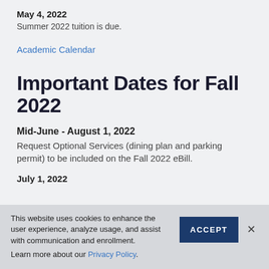May 4, 2022
Summer 2022 tuition is due.
Academic Calendar
Important Dates for Fall 2022
Mid-June - August 1, 2022
Request Optional Services (dining plan and parking permit) to be included on the Fall 2022 eBill.
July 1, 2022
This website uses cookies to enhance the user experience, analyze usage, and assist with communication and enrollment.
Learn more about our Privacy Policy.